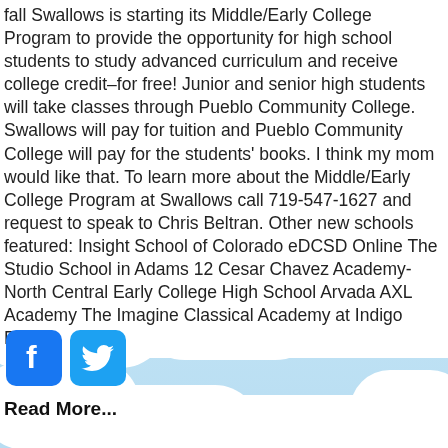fall Swallows is starting its Middle/Early College Program to provide the opportunity for high school students to study advanced curriculum and receive college credit–for free! Junior and senior high students will take classes through Pueblo Community College. Swallows will pay for tuition and Pueblo Community College will pay for the students' books. I think my mom would like that. To learn more about the Middle/Early College Program at Swallows call 719-547-1627 and request to speak to Chris Beltran. Other new schools featured: Insight School of Colorado eDCSD Online The Studio School in Adams 12 Cesar Chavez Academy-North Central Early College High School Arvada AXL Academy The Imagine Classical Academy at Indigo Ranch
[Figure (logo): Facebook and Twitter social media icons]
Read More...